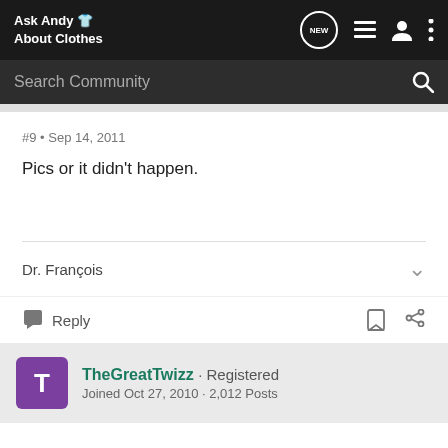Ask Andy About Clothes
#9 • Sep 14, 2011
Pics or it didn't happen.
Dr. François
Reply
TheGreatTwizz · Registered
Joined Oct 27, 2010 · 2,012 Posts